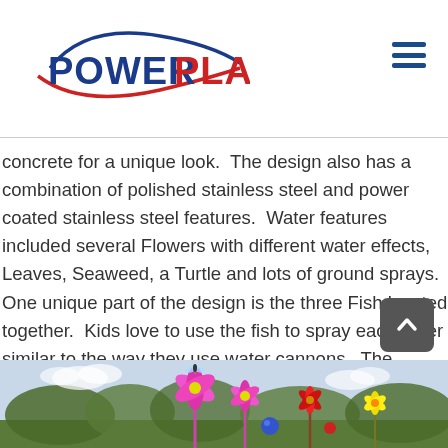Power Play
concrete for a unique look. The design also has a combination of polished stainless steel and power coated stainless steel features. Water features included several Flowers with different water effects, Leaves, Seaweed, a Turtle and lots of ground sprays.  One unique part of the design is the three Fish located together.  Kids love to use the fish to spray each other similar to the way they use water cannons.  The Splashpad area features several areas with benches, shade structures and picnic tables for families to enjoy!
[Figure (photo): Photo of colorful flower and plant water features at a splashpad, with trees and sky in the background]